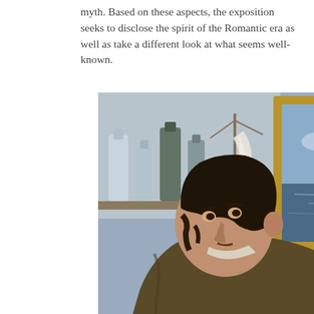myth. Based on these aspects, the exposition seeks to disclose the spirit of the Romantic era as well as take a different look at what seems well-known.
[Figure (photo): A 19th century Romantic-era painting depicting two men in an interior setting surrounded by paintings. A bearded man standing on the right holds up a small framed painting showing a dramatic landscape (possibly a volcano or fire scene), presenting it to a seated, heavyset man on the left who looks up at it. The background shows shelves with glass bottles and multiple framed artworks including a seascape.]